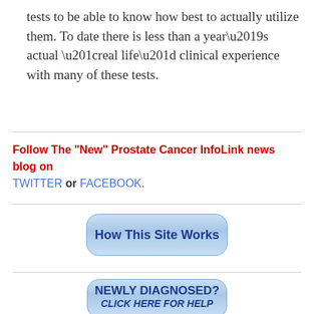tests to be able to know how best to actually utilize them. To date there is less than a year’s actual “real life” clinical experience with many of these tests.
Follow The "New" Prostate Cancer InfoLink news blog on TWITTER or FACEBOOK.
[Figure (other): Button labeled 'How This Site Works' with light blue rounded rectangle styling]
[Figure (other): Button labeled 'NEWLY DIAGNOSED? CLICK HERE FOR HELP' with light blue rounded rectangle styling]